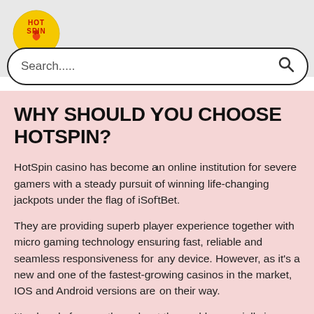[Figure (logo): HotSpin casino logo — circular yellow badge with red text 'HOT SPIN' and a flame icon]
[Figure (screenshot): Search bar with placeholder text 'Search.....' and a magnifying glass icon]
WHY SHOULD YOU CHOOSE HOTSPIN?
HotSpin casino has become an online institution for severe gamers with a steady pursuit of winning life-changing jackpots under the flag of iSoftBet.
They are providing superb player experience together with micro gaming technology ensuring fast, reliable and seamless responsiveness for any device. However, as it's a new and one of the fastest-growing casinos in the market, IOS and Android versions are on their way.
It's already famous throughout the world, especially in countries like New Zealand. Another reason for its growing popularity is the vast number of positive reviews throughout many sites.